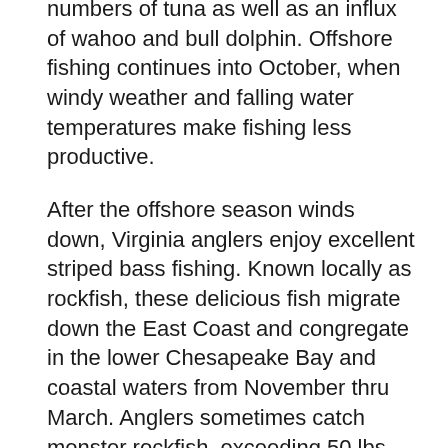numbers of tuna as well as an influx of wahoo and bull dolphin. Offshore fishing continues into October, when windy weather and falling water temperatures make fishing less productive.
After the offshore season winds down, Virginia anglers enjoy excellent striped bass fishing. Known locally as rockfish, these delicious fish migrate down the East Coast and congregate in the lower Chesapeake Bay and coastal waters from November thru March. Anglers sometimes catch monster rockfish, exceeding 50 lbs. The Virginia state record rockfish has been broken many times recently, with some of the biggest fish being caught out of Virginia Beach Virginia.